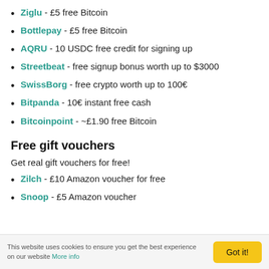Ziglu - £5 free Bitcoin
Bottlepay - £5 free Bitcoin
AQRU - 10 USDC free credit for signing up
Streetbeat - free signup bonus worth up to $3000
SwissBorg - free crypto worth up to 100€
Bitpanda - 10€ instant free cash
Bitcoinpoint - ~£1.90 free Bitcoin
Free gift vouchers
Get real gift vouchers for free!
Zilch - £10 Amazon voucher for free
Snoop - £5 Amazon voucher
This website uses cookies to ensure you get the best experience on our website More info